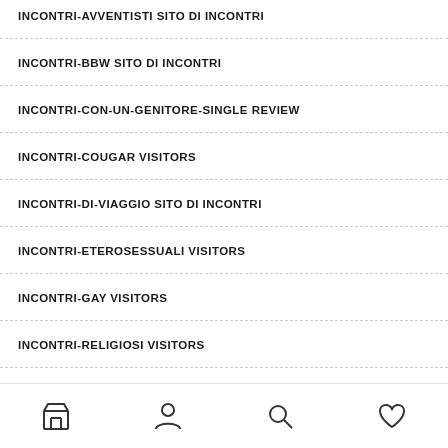INCONTRI-AVVENTISTI SITO DI INCONTRI
INCONTRI-BBW SITO DI INCONTRI
INCONTRI-CON-UN-GENITORE-SINGLE REVIEW
INCONTRI-COUGAR VISITORS
INCONTRI-DI-VIAGGIO SITO DI INCONTRI
INCONTRI-ETEROSESSUALI VISITORS
INCONTRI-GAY VISITORS
INCONTRI-RELIGIOSI VISITORS